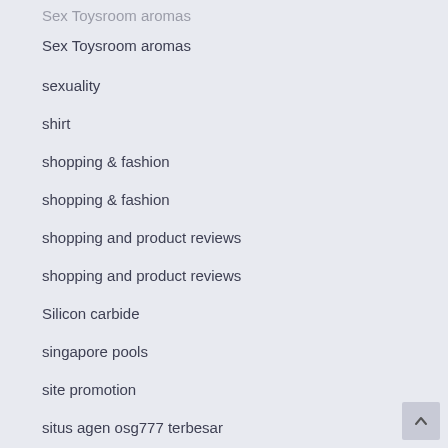Sex Toysroom aromas
Sex Toysroom aromas
sexuality
shirt
shopping & fashion
shopping & fashion
shopping and product reviews
shopping and product reviews
Silicon carbide
singapore pools
site promotion
situs agen osg777 terbesar
situs agen sbobet terpercaya
situs agen sbobet terpercaya
Situs Casino
situs aften sim dot...